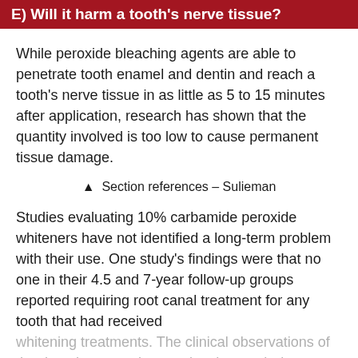E) Will it harm a tooth's nerve tissue?
While peroxide bleaching agents are able to penetrate tooth enamel and dentin and reach a tooth's nerve tissue in as little as 5 to 15 minutes after application, research has shown that the quantity involved is too low to cause permanent tissue damage.
▲  Section references – Sulieman
Studies evaluating 10% carbamide peroxide whiteners have not identified a long-term problem with their use. One study's findings were that no one in their 4.5 and 7-year follow-up groups reported requiring root canal treatment for any tooth that had received whitening treatments. The clinical observations of the dental community are also that teeth do not become...